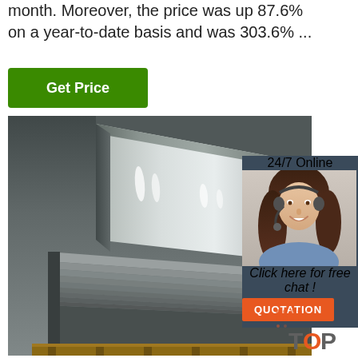month. Moreover, the price was up 87.6% on a year-to-date basis and was 303.6% ...
Get Price
[Figure (photo): Stainless or aluminum metal sheets stacked, showing reflective surface with light reflections]
24/7 Online
[Figure (photo): Customer service agent woman with headset, smiling]
Click here for free chat !
QUOTATION
[Figure (logo): TOP logo with orange dots pattern]